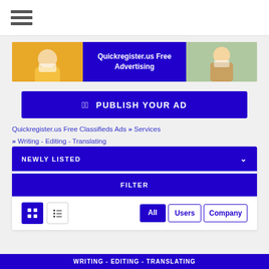[Figure (screenshot): Top navigation bar with hamburger menu icon]
[Figure (infographic): Banner ad: Quickregister.us Free Advertising with woman on left and person on right, purple center]
PUBLISH YOUR AD
Quickregister.us Free Classifieds Ads » Services » Writing - Editing - Translating
NEWLY LISTED
FILTER
All  Users  Company
WRITING - EDITING - TRANSLATING